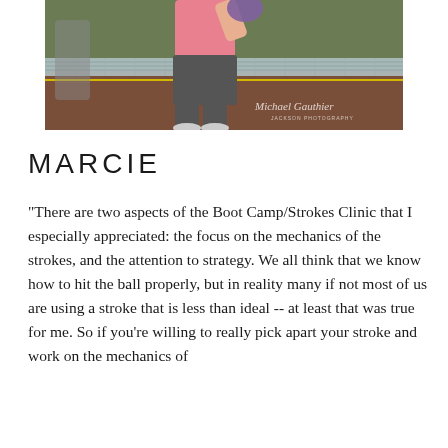[Figure (photo): A woman in a pink tank top and dark pants playing pickleball or tennis at an outdoor court, shown from the waist down and torso area, with a net visible and a photographer watermark reading 'Michael Gauthier' in the lower right corner.]
MARCIE
"There are two aspects of the Boot Camp/Strokes Clinic that I especially appreciated: the focus on the mechanics of the strokes, and the attention to strategy. We all think that we know how to hit the ball properly, but in reality many if not most of us are using a stroke that is less than ideal -- at least that was true for me. So if you're willing to really pick apart your stroke and work on the mechanics of